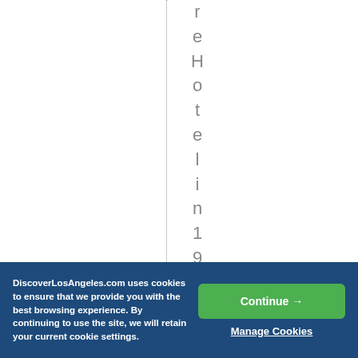reHotelin1923was
DiscoverLosAngeles.com uses cookies to ensure that we provide you with the best browsing experience. By continuing to use the site, we will retain your current cookie settings.
Continue →
Manage Cookies